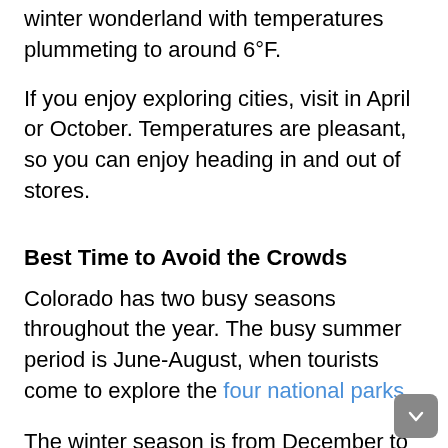winter wonderland with temperatures plummeting to around 6°F.
If you enjoy exploring cities, visit in April or October. Temperatures are pleasant, so you can enjoy heading in and out of stores.
Best Time to Avoid the Crowds
Colorado has two busy seasons throughout the year. The busy summer period is June-August, when tourists come to explore the four national parks.
The winter season is from December to early January. That's the skiing season, and Colorado is famous for having some of the best ski resorts in the world.